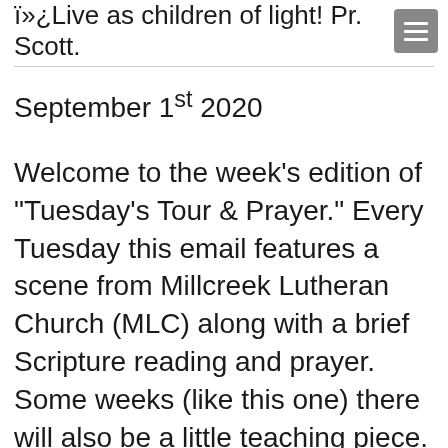ï»¿Live as children of light! Pr. Scott.
September 1st 2020
Welcome to the week's edition of "Tuesday's Tour & Prayer." Every Tuesday this email features a scene from Millcreek Lutheran Church (MLC) along with a brief Scripture reading and prayer. Some weeks (like this one) there will also be a little teaching piece. This week we will learn about the pulpit